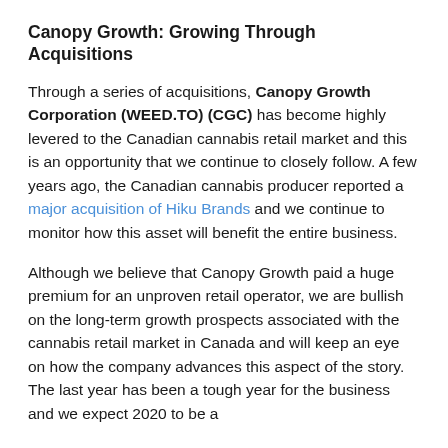Canopy Growth: Growing Through Acquisitions
Through a series of acquisitions, Canopy Growth Corporation (WEED.TO) (CGC) has become highly levered to the Canadian cannabis retail market and this is an opportunity that we continue to closely follow. A few years ago, the Canadian cannabis producer reported a major acquisition of Hiku Brands and we continue to monitor how this asset will benefit the entire business.
Although we believe that Canopy Growth paid a huge premium for an unproven retail operator, we are bullish on the long-term growth prospects associated with the cannabis retail market in Canada and will keep an eye on how the company advances this aspect of the story. The last year has been a tough year for the business and we expect 2020 to be a